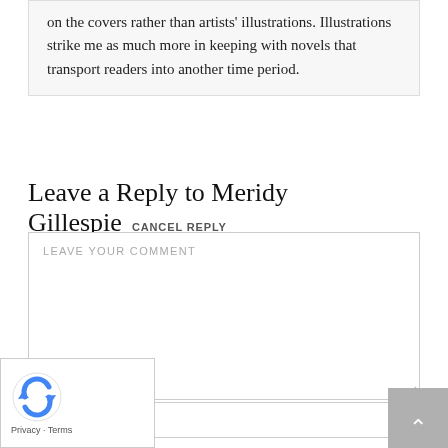on the covers rather than artists' illustrations. Illustrations strike me as much more in keeping with novels that transport readers into another time period.
Leave a Reply to Meridy Gillespie CANCEL REPLY
LEAVE YOUR COMMENT
Name *
[Figure (logo): reCAPTCHA logo with circular arrows icon and Privacy - Terms text]